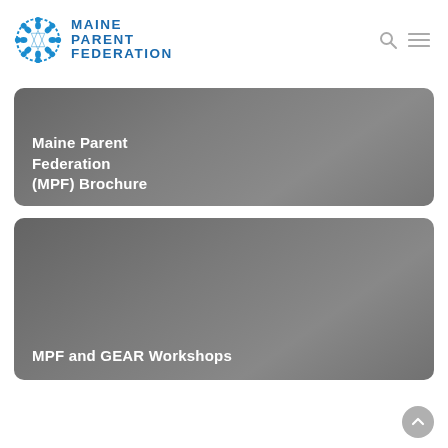Maine Parent Federation
[Figure (logo): Maine Parent Federation logo with circular icon of figures in blue and text MAINE PARENT FEDERATION in blue bold uppercase]
Maine Parent Federation (MPF) Brochure
MPF and GEAR Workshops